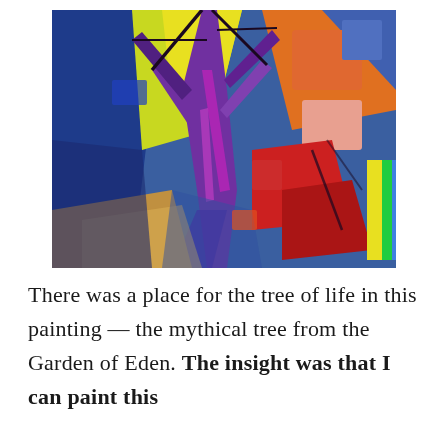[Figure (illustration): Abstract expressionist painting of a tree with colorful geometric shapes. A central tree with purple/violet trunk branches upward, set against vivid geometric color blocks in blue, yellow, orange, red, pink, and green. Style is cubist/expressionist with bold brushstrokes.]
There was a place for the tree of life in this painting — the mythical tree from the Garden of Eden. The insight was that I can paint this